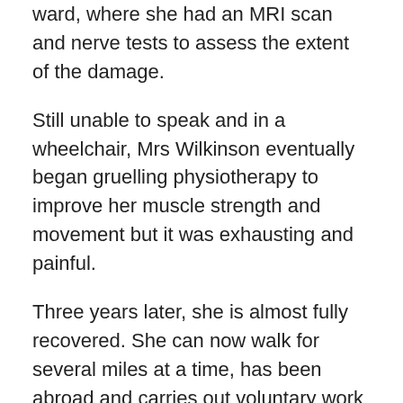ward, where she had an MRI scan and nerve tests to assess the extent of the damage.
Still unable to speak and in a wheelchair, Mrs Wilkinson eventually began gruelling physiotherapy to improve her muscle strength and movement but it was exhausting and painful.
Three years later, she is almost fully recovered. She can now walk for several miles at a time, has been abroad and carries out voluntary work for a GBS Support Group helpline.
She said: ‘It makes me feel wary that the Government is rolling out this vaccine without any clear idea of the GBS risk, if any. I wouldn’t wish it on anyone and it certainly changed my life.
‘I’m frightened to have the swine flu vaccine if this might